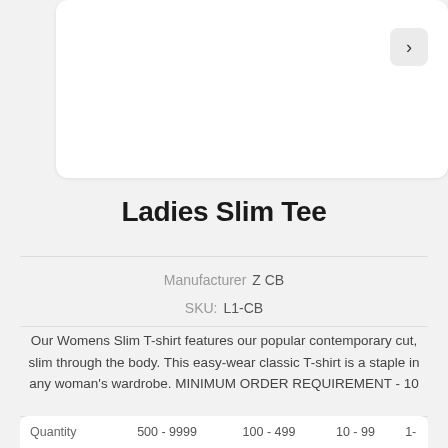[Figure (screenshot): Top white card with navigation arrow button on the right side, showing a product image area (blank/cropped)]
Ladies Slim Tee
Manufacturer  Z CB
SKU:  L1-CB
Our Womens Slim T-shirt features our popular contemporary cut, slim through the body. This easy-wear classic T-shirt is a staple in any woman's wardrobe. MINIMUM ORDER REQUIREMENT - 10
| Quantity | 500 - 9999 | 100 - 499 | 10 - 99 | 1- |
| --- | --- | --- | --- | --- |